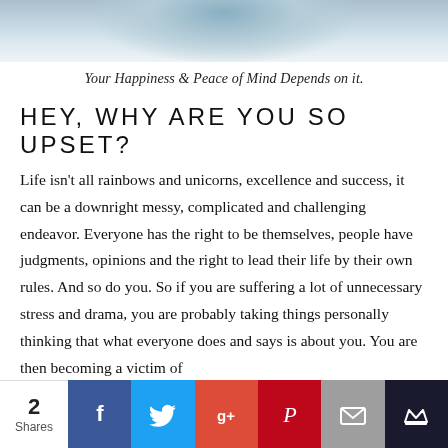[Figure (photo): Cropped photo of a person wearing blue denim, partial view, fading into white background]
Your Happiness & Peace of Mind Depends on it.
HEY, WHY ARE YOU SO UPSET?
Life isn't all rainbows and unicorns, excellence and success, it can be a downright messy, complicated and challenging endeavor. Everyone has the right to be themselves, people have judgments, opinions and the right to lead their life by their own rules. And so do you. So if you are suffering a lot of unnecessary stress and drama, you are probably taking things personally thinking that what everyone does and says is about you. You are then becoming a victim of
2 Shares | Facebook | Twitter | Google+ | Pinterest | Email | Crown